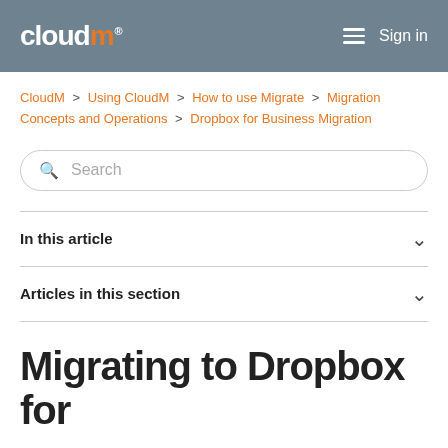cloudm® Sign in
CloudM > Using CloudM > How to use Migrate > Migration Concepts and Operations > Dropbox for Business Migration
Search
In this article
Articles in this section
Migrating to Dropbox for